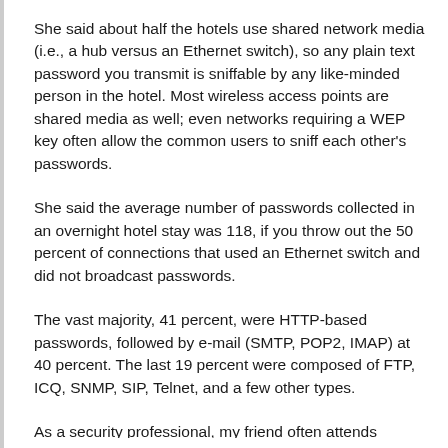She said about half the hotels use shared network media (i.e., a hub versus an Ethernet switch), so any plain text password you transmit is sniffable by any like-minded person in the hotel. Most wireless access points are shared media as well; even networks requiring a WEP key often allow the common users to sniff each other's passwords.
She said the average number of passwords collected in an overnight hotel stay was 118, if you throw out the 50 percent of connections that used an Ethernet switch and did not broadcast passwords.
The vast majority, 41 percent, were HTTP-based passwords, followed by e-mail (SMTP, POP2, IMAP) at 40 percent. The last 19 percent were composed of FTP, ICQ, SNMP, SIP, Telnet, and a few other types.
As a security professional, my friend often attends security conferences and teaches security classes. She noted that the number of passwords she collected in these venues was higher on average than in non-